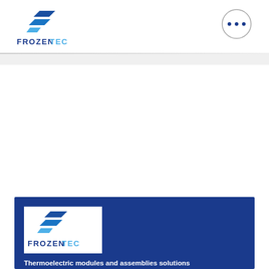[Figure (logo): FrozenTec logo in header: stylized blue angular F shape with FROZEN in dark blue and TEC in light blue]
[Figure (other): Circle menu button with three dots in dark navy blue]
[Figure (logo): FrozenTec logo on white background inside blue panel]
Thermoelectric modules and assemblies solutions